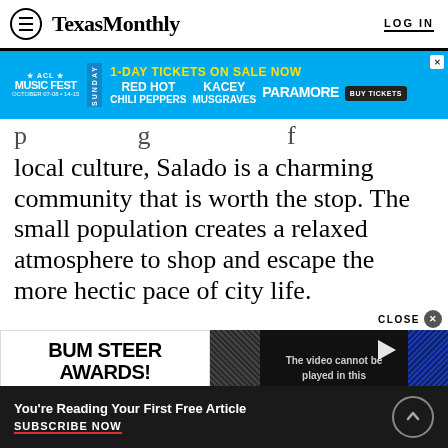Texas Monthly — LOG IN
[Figure (screenshot): ACL Music Fest advertisement banner: 1-DAY TICKETS ON SALE NOW, featuring Red Hot Chili Peppers, Kacey Musgraves, Paramore, Sunday]
local culture, Salado is a charming community that is worth the stop. The small population creates a relaxed atmosphere to shop and escape the more hectic pace of city life.
[Figure (screenshot): Texas Monthly magazine cover showing BUM STEER AWARDS! with TexasMonthly masthead in red, Oh no! Oh yes! Anna Nicole text visible]
[Figure (screenshot): Video player showing America's Girls: A Wild & Glamorous Saga with error message: The video cannot be played in this browser. (Error Code: 24...). MORE button visible.]
You're Reading Your First Free Article
SUBSCRIBE NOW